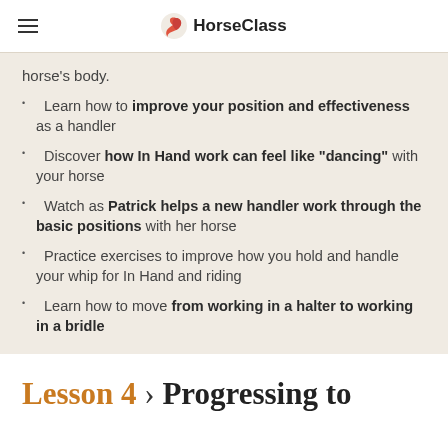HorseClass
horse's body.
Learn how to improve your position and effectiveness as a handler
Discover how In Hand work can feel like "dancing" with your horse
Watch as Patrick helps a new handler work through the basic positions with her horse
Practice exercises to improve how you hold and handle your whip for In Hand and riding
Learn how to move from working in a halter to working in a bridle
Lesson 4 › Progressing to